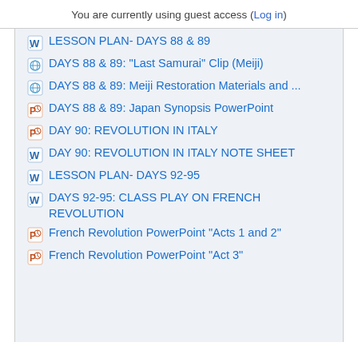You are currently using guest access (Log in)
LESSON PLAN- DAYS 88 & 89
DAYS 88 & 89: "Last Samurai" Clip (Meiji)
DAYS 88 & 89: Meiji Restoration Materials and ...
DAYS 88 & 89: Japan Synopsis PowerPoint
DAY 90: REVOLUTION IN ITALY
DAY 90: REVOLUTION IN ITALY NOTE SHEET
LESSON PLAN- DAYS 92-95
DAYS 92-95: CLASS PLAY ON FRENCH REVOLUTION
French Revolution PowerPoint "Acts 1 and 2"
French Revolution PowerPoint "Act 3"